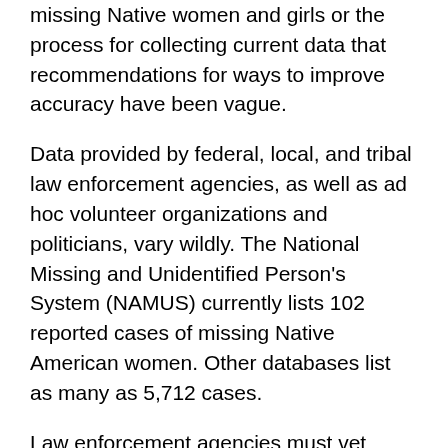missing Native women and girls or the process for collecting current data that recommendations for ways to improve accuracy have been vague.
Data provided by federal, local, and tribal law enforcement agencies, as well as ad hoc volunteer organizations and politicians, vary wildly. The National Missing and Unidentified Person's System (NAMUS) currently lists 102 reported cases of missing Native American women. Other databases list as many as 5,712 cases.
Law enforcement agencies must vet missing reports in order for them to be included in NAMUS' volunteer listing, which is available to the public. Law enforcement, however, can